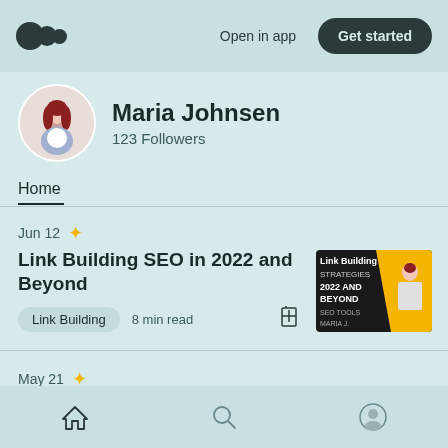Open in app | Get started
Maria Johnsen
123 Followers
Home
Jun 12 ✦
Link Building SEO in 2022 and Beyond
Link Building  8 min read
[Figure (photo): Book cover thumbnail for Link Building SEO strategies, dark background with yellow accent]
May 21 ✦
Home | Search | Profile